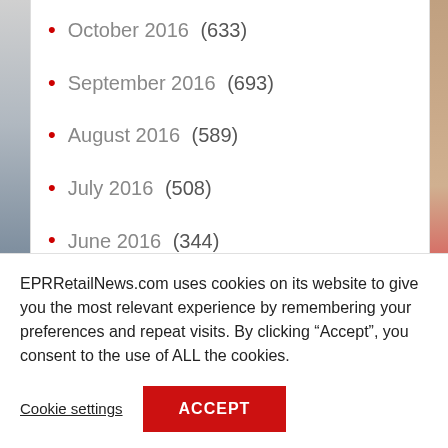October 2016 (633)
September 2016 (693)
August 2016 (589)
July 2016 (508)
June 2016 (344)
May 2016 (366)
April 2016 (341)
March 2016 (317)
EPRRetailNews.com uses cookies on its website to give you the most relevant experience by remembering your preferences and repeat visits. By clicking “Accept”, you consent to the use of ALL the cookies.
Cookie settings
ACCEPT